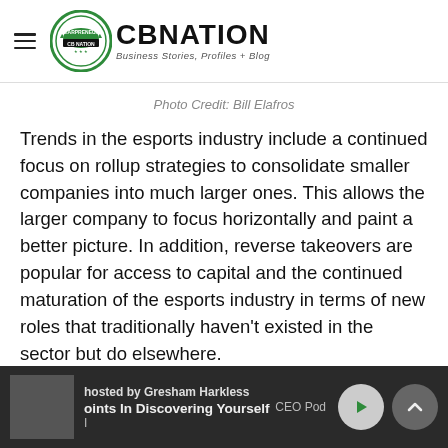[Figure (logo): CBNation logo with hamburger menu — green circular badge with 'IEARPRENEUR' text, next to bold 'CBNATION' wordmark and 'Business Stories, Profiles + Blog' tagline]
Photo Credit: Bill Elafros
Trends in the esports industry include a continued focus on rollup strategies to consolidate smaller companies into much larger ones. This allows the larger company to focus horizontally and paint a better picture. In addition, reverse takeovers are popular for access to capital and the continued maturation of the esports industry in terms of new roles that traditionally haven't existed in the sector but do elsewhere.
Thanks to Bill Elafros, Elafros Consulting / BEAT esports!
hosted by Gresham Harkless   CEO Pod   oints In Discovering Yourself   I